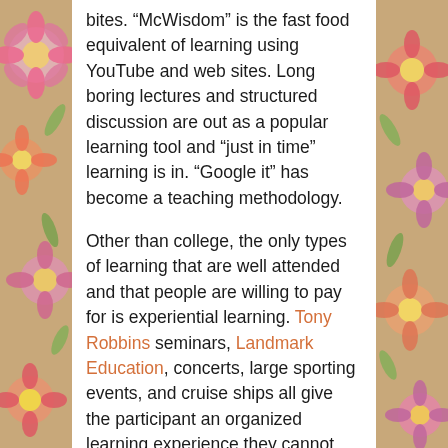bites.  “McWisdom” is the fast food equivalent of learning using YouTube and web sites.  Long boring lectures and structured discussion are out as a popular learning tool and “just in time” learning is in.  “Google it” has become a teaching methodology.
Other than college, the only types of learning that are well attended and that people are willing to pay for is experiential learning.  Tony Robbins seminars, Landmark Education, concerts, large sporting events, and cruise ships all give the participant an organized learning experience they cannot get on the Internet or by themselves.
It is not enough to take our existing pedagogy and put it on the Internet. We tried that when VHS t...